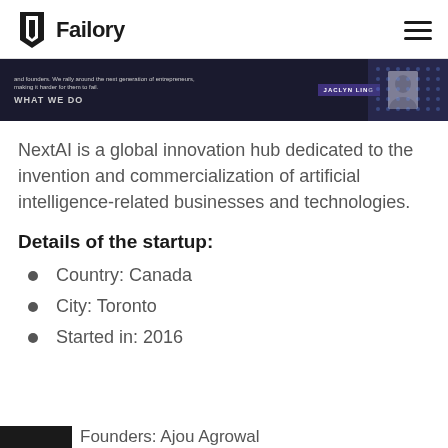Failory
[Figure (screenshot): Dark banner showing text about entrepreneurs and founders, with 'WHAT WE DO' text and a person labeled 'JACLYN LING' on the right side]
NextAI is a global innovation hub dedicated to the invention and commercialization of artificial intelligence-related businesses and technologies.
Details of the startup:
Country: Canada
City: Toronto
Started in: 2016
Founders: Ajou Agrowal